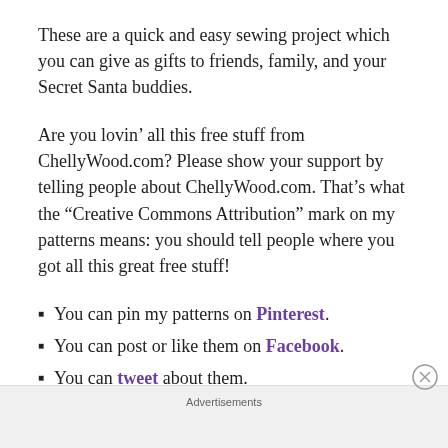These are a quick and easy sewing project which you can give as gifts to friends, family, and your Secret Santa buddies.
Are you lovin’ all this free stuff from ChellyWood.com? Please show your support by telling people about ChellyWood.com. That’s what the “Creative Commons Attribution” mark on my patterns means: you should tell people where you got all this great free stuff!
You can pin my patterns on Pinterest.
You can post or like them on Facebook.
You can tweet about them.
Advertisements